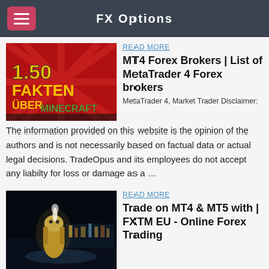FX Options
[Figure (photo): Thumbnail image with '150 Fakten über Minecraft' text on red background]
READ MORE
MT4 Forex Brokers | List of MetaTrader 4 Forex brokers
MetaTrader 4, Market Trader Disclaimer: The information provided on this website is the opinion of the authors and is not necessarily based on factual data or actual legal decisions. TradeOpus and its employees do not accept any liabilty for loss or damage as a …
[Figure (photo): Night photo of Merlion statue in Singapore with illuminated fountain]
READ MORE
Trade on MT4 & MT5 with | FXTM EU - Online Forex Trading
I have been using the Piphiker forex robot for almost 3 months and I am really impressed, more than 200% profit. I work long hours